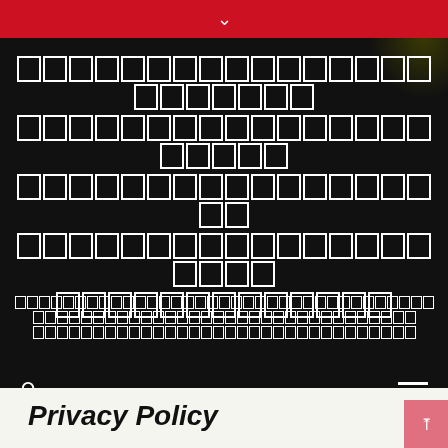[redacted squares title block]
[redacted squares description block]
Privacy Policy